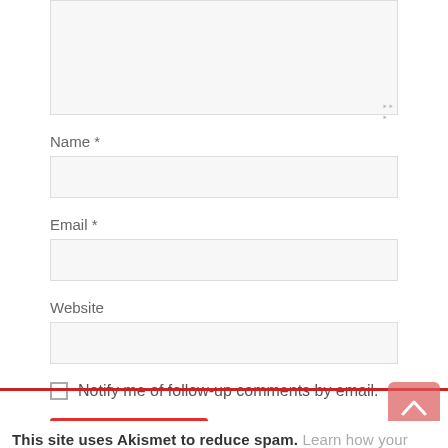[Figure (screenshot): Textarea input box (comment field) with resize handle at bottom-right]
Name *
[Figure (screenshot): Name input field (empty text box)]
Email *
[Figure (screenshot): Email input field (empty text box)]
Website
[Figure (screenshot): Website input field (empty text box)]
Notify me of follow-up comments by email.
Post Comment
This site uses Akismet to reduce spam. Learn how your